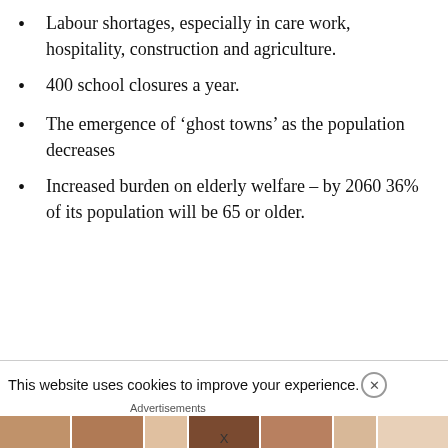Labour shortages, especially in care work, hospitality, construction and agriculture.
400 school closures a year.
The emergence of ‘ghost towns’ as the population decreases
Increased burden on elderly welfare – by 2060 36% of its population will be 65 or older.
This website uses cookies to improve your experience.
Advertisements